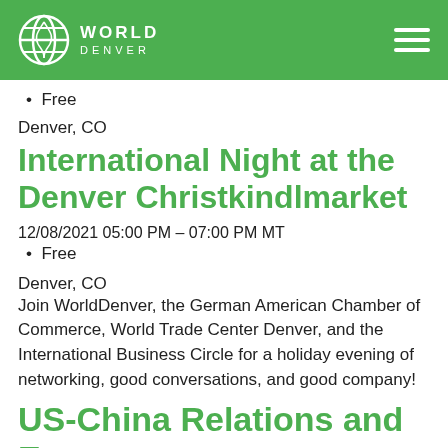World Denver
Free
Denver, CO
International Night at the Denver Christkindlmarket
12/08/2021 05:00 PM - 07:00 PM MT
Free
Denver, CO
Join WorldDenver, the German American Chamber of Commerce, World Trade Center Denver, and the International Business Circle for a holiday evening of networking, good conversations, and good company!
US-China Relations and Energy